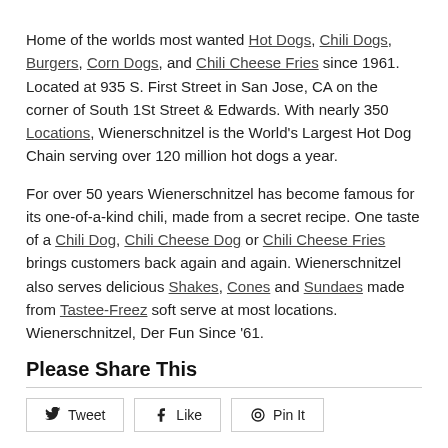Home of the worlds most wanted Hot Dogs, Chili Dogs, Burgers, Corn Dogs, and Chili Cheese Fries since 1961. Located at 935 S. First Street in San Jose, CA on the corner of South 1St Street & Edwards. With nearly 350 Locations, Wienerschnitzel is the World's Largest Hot Dog Chain serving over 120 million hot dogs a year.
For over 50 years Wienerschnitzel has become famous for its one-of-a-kind chili, made from a secret recipe. One taste of a Chili Dog, Chili Cheese Dog or Chili Cheese Fries brings customers back again and again. Wienerschnitzel also serves delicious Shakes, Cones and Sundaes made from Tastee-Freez soft serve at most locations. Wienerschnitzel, Der Fun Since '61.
Please Share This
Tweet
Like
Pin It